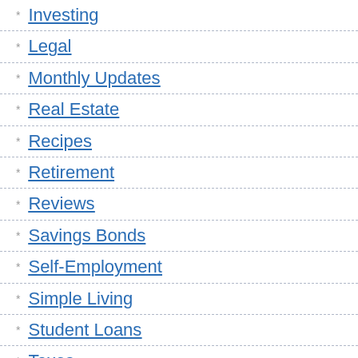Investing
Legal
Monthly Updates
Real Estate
Recipes
Retirement
Reviews
Savings Bonds
Self-Employment
Simple Living
Student Loans
Taxes